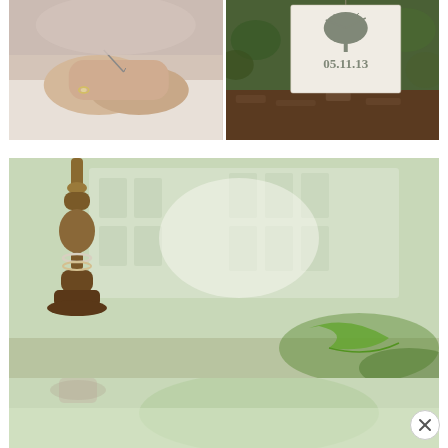[Figure (photo): Top-left photo: close-up of hands holding a sewing needle, person wearing an engagement ring, wearing a white top.]
[Figure (photo): Top-right photo: a save-the-date card with a tree illustration and the date 05.11.13, surrounded by green foliage and bark.]
[Figure (photo): Large bottom photo: close-up of a wooden baluster/candlestick with a blurred background of white building windows and green foliage, with two rings resting on it and a green ribbon in the lower right.]
[Figure (photo): Bottom strip: continuation/reflection of the bottom photo showing blurred greenery.]